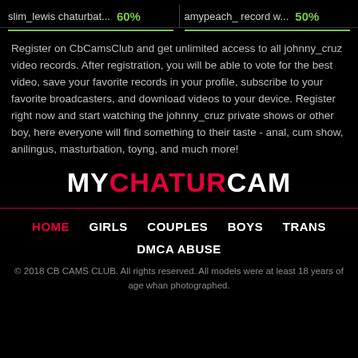slim_lewis chaturbat... 60%   amypeach_ record w... 50%
Register on CbCamsClub and get unlimited access to all johnny_cruz video records. After registration, you will be able to vote for the best video, save your favorite records in your profile, subscribe to your favorite broadcasters, and download videos to your device. Register right now and start watching the johnny_cruz private shows or other boy, here everyone will find something to their taste - anal, cum show, anilingus, masturbation, toyng, and much more!
[Figure (logo): MYCHATURCAM logo in white, red, and white bold text]
HOME   GIRLS   COUPLES   BOYS   TRANS   DMCA ABUSE
© 2018 CB CAMS CLUB. All rights reserved. All models were at least 18 years of age whan photographed.